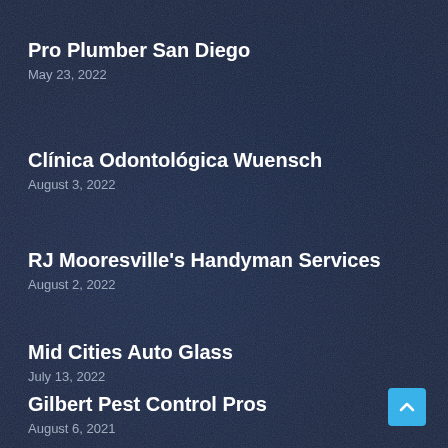Pro Plumber San Diego
May 23, 2022
Clínica Odontológica Wuensch
August 3, 2022
RJ Mooresville's Handyman Services
August 2, 2022
Mid Cities Auto Glass
July 13, 2022
Gilbert Pest Control Pros
August 6, 2021